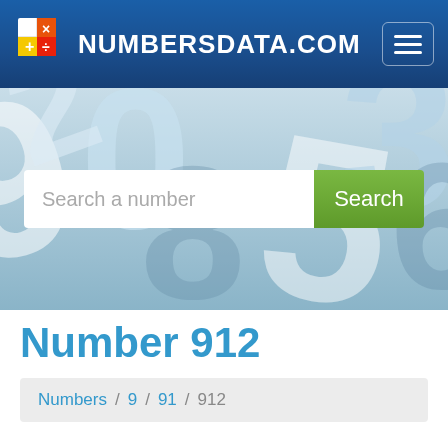NUMBERSDATA.COM
[Figure (screenshot): Hero background image of large 3D light blue numbers scattered/overlapping on a blue-grey background]
Search a number
Number 912
Numbers / 9 / 91 / 912